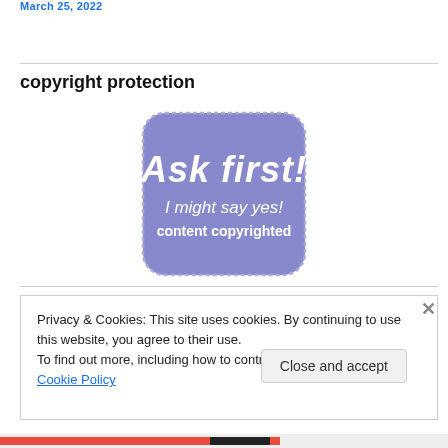March 25, 2022
copyright protection
[Figure (illustration): A rounded rectangle badge with purple/periwinkle background and white text reading: 'Ask first! I might say yes! content copyrighted']
Privacy & Cookies: This site uses cookies. By continuing to use this website, you agree to their use.
To find out more, including how to control cookies, see here: Cookie Policy